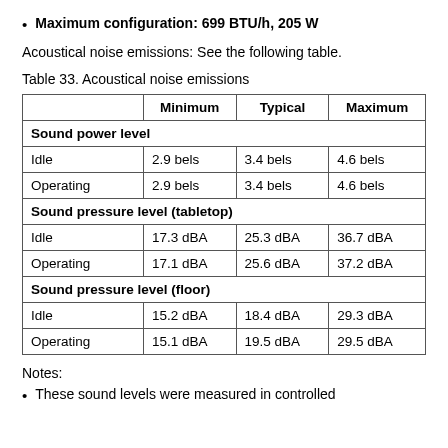Maximum configuration: 699 BTU/h, 205 W
Acoustical noise emissions: See the following table.
Table 33. Acoustical noise emissions
|  | Minimum | Typical | Maximum |
| --- | --- | --- | --- |
| Sound power level |  |  |  |
| Idle | 2.9 bels | 3.4 bels | 4.6 bels |
| Operating | 2.9 bels | 3.4 bels | 4.6 bels |
| Sound pressure level (tabletop) |  |  |  |
| Idle | 17.3 dBA | 25.3 dBA | 36.7 dBA |
| Operating | 17.1 dBA | 25.6 dBA | 37.2 dBA |
| Sound pressure level (floor) |  |  |  |
| Idle | 15.2 dBA | 18.4 dBA | 29.3 dBA |
| Operating | 15.1 dBA | 19.5 dBA | 29.5 dBA |
Notes:
These sound levels were measured in controlled